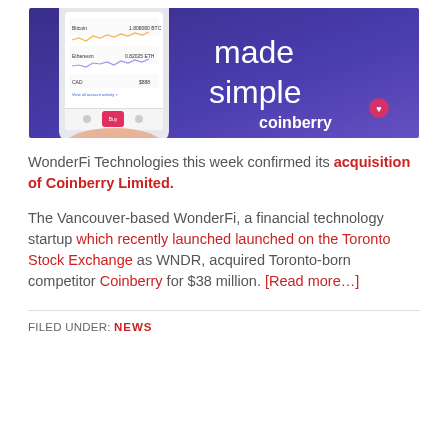[Figure (photo): Coinberry advertisement banner showing a hand holding a smartphone with a crypto portfolio app, with text 'made simple' and the Coinberry logo on a purple/blue gradient background]
WonderFi Technologies this week confirmed its acquisition of Coinberry Limited.
The Vancouver-based WonderFi, a financial technology startup which recently launched launched on the Toronto Stock Exchange as WNDR, acquired Toronto-born competitor Coinberry for $38 million. [Read more…]
FILED UNDER: NEWS